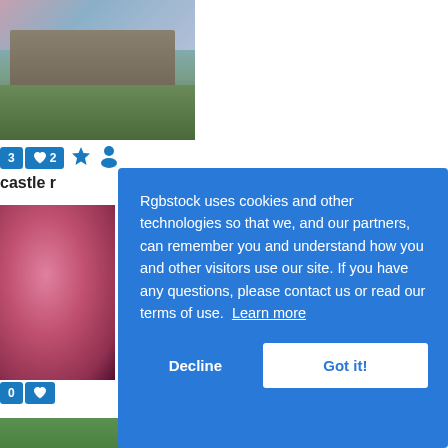[Figure (photo): Photograph of a ruined medieval castle on a hillside surrounded by green foliage under a partly cloudy sky]
3  ♥2  ★  👤
castle r
[Figure (photo): Close-up photograph of pink roses in bloom]
0  ♥
beautif
[Figure (screenshot): Cookie consent overlay dialog on Rgbstock website with Decline and Got it! buttons]
Rgbstock uses cookies and other technologies so that we, and our partners, can remember you and understand how you and other visitors use our site. If you have any questions, please contact us or read our terms of use.  Learn more
[Figure (photo): Green foliage visible at bottom of page]